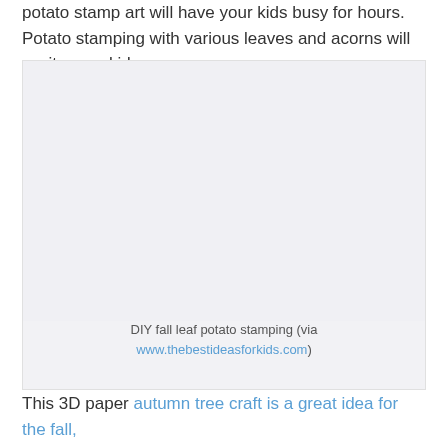potato stamp art will have your kids busy for hours. Potato stamping with various leaves and acorns will excite your kids.
[Figure (photo): A light gray placeholder image area representing a DIY fall leaf potato stamping photo]
DIY fall leaf potato stamping (via www.thebestideasforkids.com)
This 3D paper autumn tree craft is a great idea for the fall,